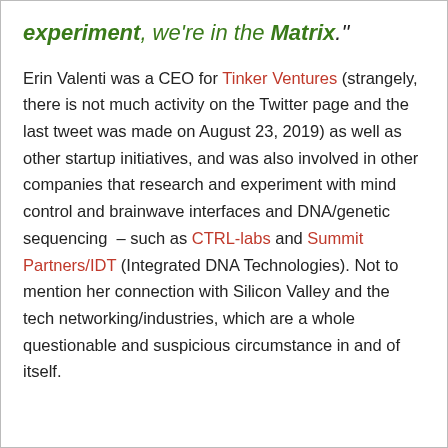experiment, we're in the Matrix."
Erin Valenti was a CEO for Tinker Ventures (strangely, there is not much activity on the Twitter page and the last tweet was made on August 23, 2019) as well as other startup initiatives, and was also involved in other companies that research and experiment with mind control and brainwave interfaces and DNA/genetic sequencing – such as CTRL-labs and Summit Partners/IDT (Integrated DNA Technologies). Not to mention her connection with Silicon Valley and the tech networking/industries, which are a whole questionable and suspicious circumstance in and of itself.